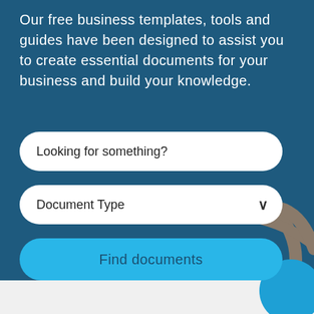Our free business templates, tools and guides have been designed to assist you to create essential documents for your business and build your knowledge.
[Figure (illustration): Search input box with placeholder text 'Looking for something?', a dropdown selector labeled 'Document Type' with a chevron, and a blue 'Find documents' button, all on a dark teal background with a decorative grey branch and blue circle illustration in the bottom-right corner.]